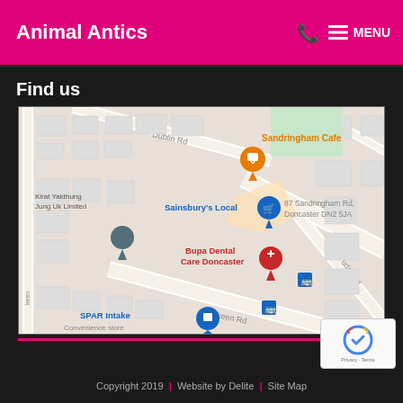Animal Antics  MENU
Find us
[Figure (map): Google Maps screenshot showing area around 87 Sandringham Rd, Doncaster DN2 5JA. Shows landmarks: Sandringham Cafe (orange pin), Sainsbury's Local (blue pin), Bupa Dental Care Doncaster (red pin), SPAR Intake Convenience store (blue pin), Kirat Yakthung Jung Uk Limited, Dublin Rd, Tudor Rd, Lakeen Rd.]
Copyright 2019 | Website by Delite | Site Map